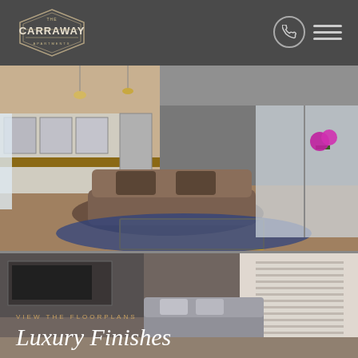[Figure (logo): Carraway Apartments logo — hexagonal badge shape with 'CARRAWAY' text]
[Figure (photo): Interior apartment photo showing luxury living room with tufted sofa, glass coffee table with gold frame, blue patterned rug, open kitchen with white cabinets, stainless steel appliances, and sliding glass doors]
VIEW THE FLOORPLANS
Luxury Finishes
[Figure (photo): Partial interior apartment photo showing living area with windows and blinds]